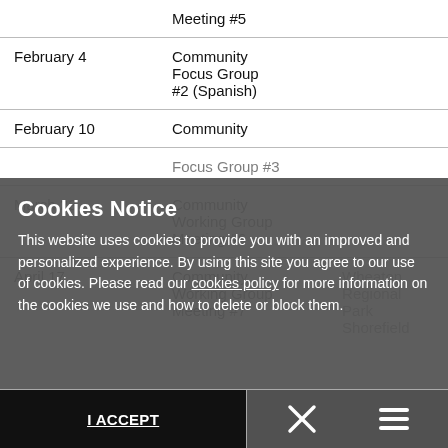| Date | Event | Location |
| --- | --- | --- |
|  | Meeting #5 |  |
| February 4 | Community Focus Group #2 (Spanish) |  |
| February 10 | Community Focus Group #3 |  |
| March 23 | Community Working Group Meeting #6 |  |
| April 17 | Community Working Group Meeting #7 | Wheaton Regional Park Shorefield |
Cookies Notice
This website uses cookies to provide you with an improved and personalized experience. By using this site you agree to our use of cookies. Please read our cookies policy for more information on the cookies we use and how to delete or block them.